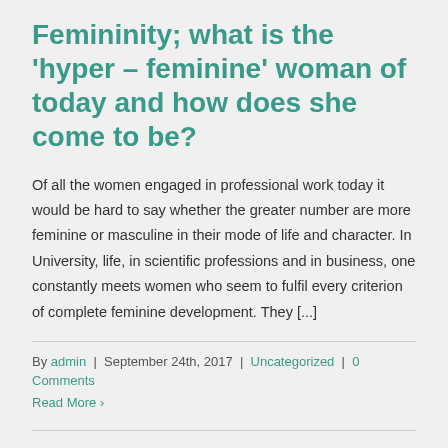Femininity; what is the 'hyper – feminine' woman of today and how does she come to be?
Of all the women engaged in professional work today it would be hard to say whether the greater number are more feminine or masculine in their mode of life and character. In University, life, in scientific professions and in business, one constantly meets women who seem to fulfil every criterion of complete feminine development. They [...]
By admin | September 24th, 2017 | Uncategorized | 0 Comments
Read More ›
Falling down and Subi...